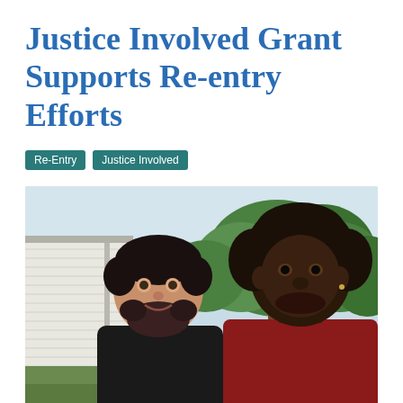Justice Involved Grant Supports Re-entry Efforts
Re-Entry   Justice Involved
[Figure (photo): Two men standing outdoors in front of a white building and trees. The man on the left is wearing a black shirt and has a beard; the man on the right is wearing a red shirt.]